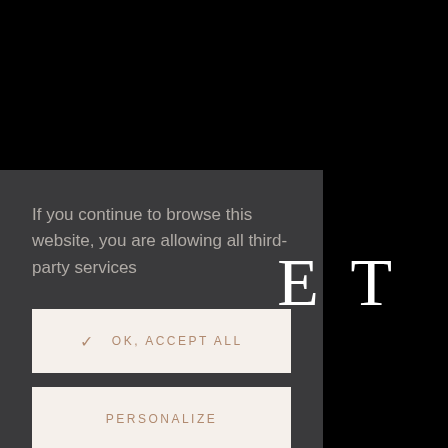If you continue to browse this website, you are allowing all third-party services
✓  OK, ACCEPT ALL
PERSONALIZE
E T